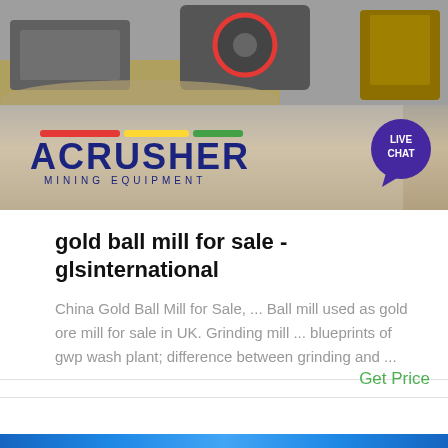[Figure (photo): ACRUSHER Mining Equipment banner with industrial machinery in background and live chat bubble]
gold ball mill for sale - glsinternational
China Gold Ball Mill for Sale, ... Ball mill used as gold ore mill for sale in UK. Grinding mill ... blueprints of gwp wash plant; difference between grinding and ...
Get Price
[Figure (photo): Partial view of another product/listing image at the bottom of the page]